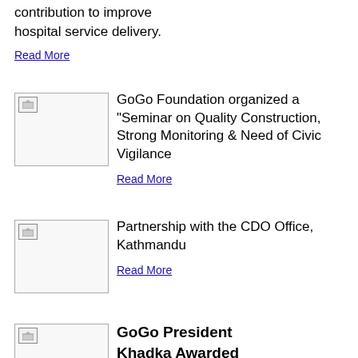contribution to improve hospital service delivery.
Read More
[Figure (photo): Thumbnail image placeholder for seminar article]
GoGo Foundation organized a "Seminar on Quality Construction, Strong Monitoring & Need of Civic Vigilance
Read More
[Figure (photo): Thumbnail image placeholder for CDO partnership article]
Partnership with the CDO Office, Kathmandu
Read More
[Figure (photo): Thumbnail image placeholder for GoGo President article]
GoGo President Khadka Awarded